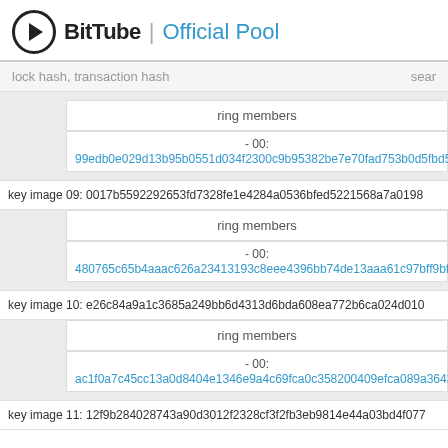BitTube | Official Pool
lock hash, transaction hash  search
ring members
- 00:
99edb0e029d13b95b0551d034f2300c9b95382be7e70fad753b0d5fbd52ec934
key image 09: 0017b5592292653fd7328fe1e4284a0536bfed5221568a7a0198
ring members
- 00:
480765c65b4aaac626a23413193c8eee4396bb74de13aaa61c97bff9bfd6ecf9
key image 10: e26c84a9a1c3685a249bb6d4313d6bda608ea772b6ca024d010
ring members
- 00:
ac1f0a7c45cc13a0d8404e1346e9a4c69fca0c358200409efca089a36431a00e
key image 11: 12f9b284028743a90d3012f2328cf3f2fb3eb9814e44a03bd4f077